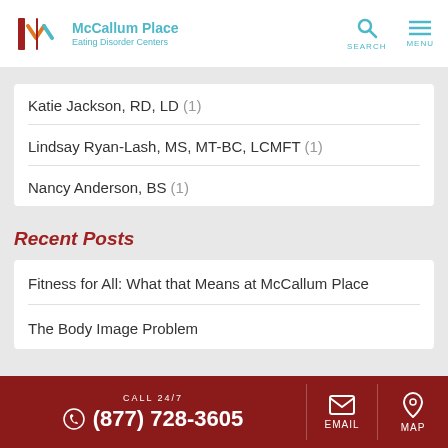McCallum Place Eating Disorder Centers
Katie Jackson, RD, LD (1)
Lindsay Ryan-Lash, MS, MT-BC, LCMFT (1)
Nancy Anderson, BS (1)
Recent Posts
Fitness for All: What that Means at McCallum Place
The Body Image Problem
CALL 24/7 (877) 728-3605  EMAIL  MAP